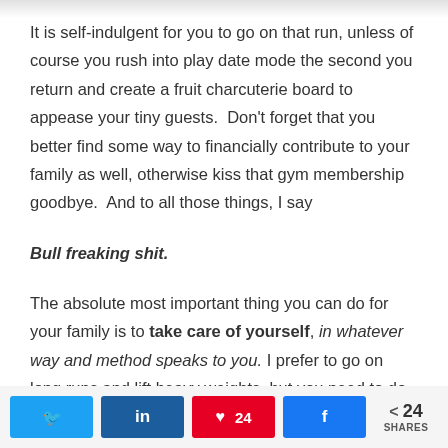It is self-indulgent for you to go on that run, unless of course you rush into play date mode the second you return and create a fruit charcuterie board to appease your tiny guests.  Don't forget that you better find some way to financially contribute to your family as well, otherwise kiss that gym membership goodbye.  And to all those things, I say
Bull freaking shit.
The absolute most important thing you can do for your family is to take care of yourself, in whatever way and method speaks to you. I prefer to go on long runs and lift heavy weights, but you need to do whatever lights
24 SHARES | Twitter | LinkedIn | Pinterest 24 | Facebook